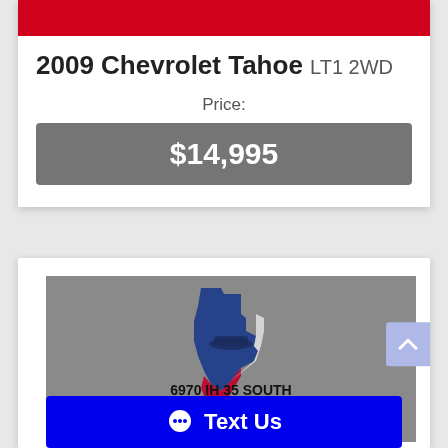2009 Chevrolet Tahoe LT1 2WD
Price:
$14,995
[Figure (logo): Texas Auto Dealer logo with Texas state shape in red, white, and blue, with car silhouette and text TEXAS AUTO DEALER]
6970 IH 35 SOUTH
SAN ANTONIO, TX 78224
CALL: 210-000-0000
Text Us